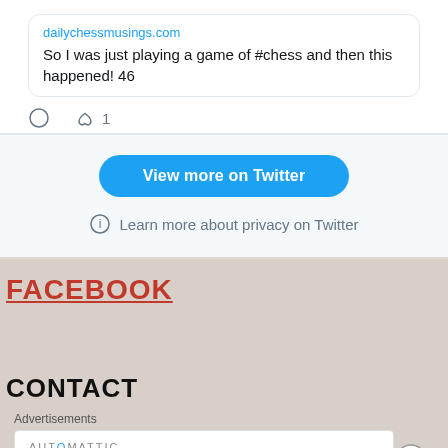dailychessmusings.com
So I was just playing a game of #chess and then this happened! 46
♡ 1
View more on Twitter
ⓘ Learn more about privacy on Twitter
FACEBOOK
CONTACT
Advertisements
AUTOMATTIC
Build a better web and a better world.